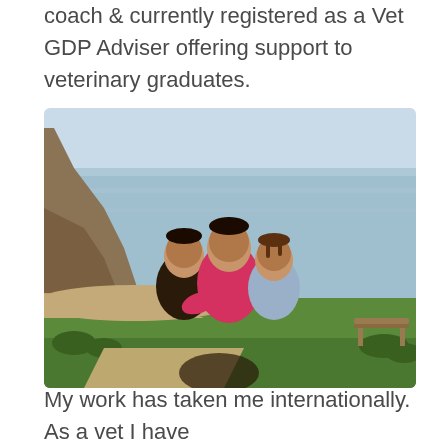coach & currently registered as a Vet GDP Adviser offering support to veterinary graduates.
[Figure (photo): Three children smiling and hugging outdoors on a coastal clifftop viewpoint, with a scenic curved beach, green fields, and the sea visible in the background. A wooden bench is partially visible on the right.]
My work has taken me internationally. As a vet I have...